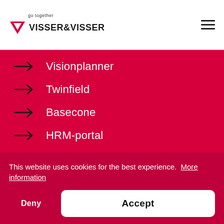[Figure (logo): Visser & Visser logo with red downward triangle and tagline 'go together']
→ Visionplanner
→ Twinfield
→ Basecone
→ HRM-portal
This website uses cookies for the best experience. More information
Deny | Accept